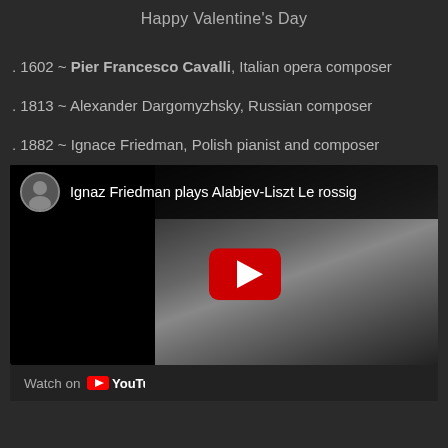Happy Valentine's Day
. 1602 ~ Pier Francesco Cavalli, Italian opera composer
. 1813 ~ Alexander Dargomyzhsky, Russian composer
. 1882 ~ Ignace Friedman, Polish pianist and composer
[Figure (screenshot): YouTube video embed showing 'Ignaz Friedman plays Alabjev-Liszt Le rossig...' with a black-and-white portrait photo of the pianist and a red YouTube play button overlay]
Watch on YouTube